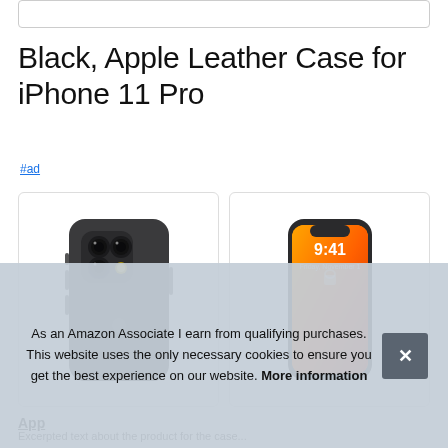[Figure (screenshot): Search bar at top of page]
Black, Apple Leather Case for iPhone 11 Pro
#ad
[Figure (photo): iPhone 11 Pro with black leather case shown from back, triple camera visible]
[Figure (photo): iPhone 11 Pro front view showing orange wallpaper, time 9:41]
App
Excerpt text about the product beginning with a partial sentence
As an Amazon Associate I earn from qualifying purchases. This website uses the only necessary cookies to ensure you get the best experience on our website. More information